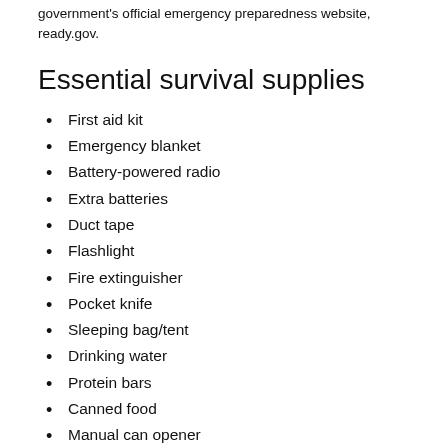government's official emergency preparedness website, ready.gov.
Essential survival supplies
First aid kit
Emergency blanket
Battery-powered radio
Extra batteries
Duct tape
Flashlight
Fire extinguisher
Pocket knife
Sleeping bag/tent
Drinking water
Protein bars
Canned food
Manual can opener
Additional supplies